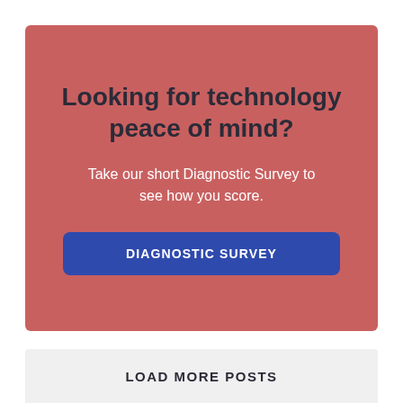Looking for technology peace of mind?
Take our short Diagnostic Survey to see how you score.
DIAGNOSTIC SURVEY
LOAD MORE POSTS